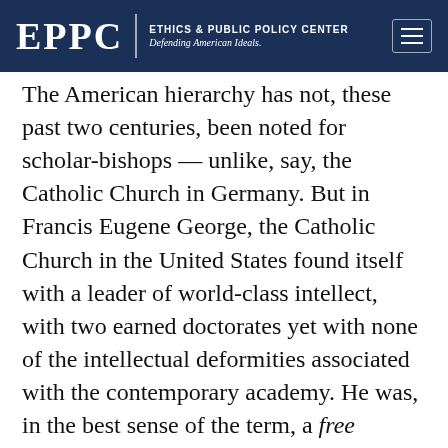EPPC | ETHICS & PUBLIC POLICY CENTER Defending American Ideals.
The American hierarchy has not, these past two centuries, been noted for scholar-bishops — unlike, say, the Catholic Church in Germany. But in Francis Eugene George, the Catholic Church in the United States found itself with a leader of world-class intellect, with two earned doctorates yet with none of the intellectual deformities associated with the contemporary academy. He was, in the best sense of the term, a free thinker: one who thought independently of the reigning shibboleths, yet within the tradition of the Church and its intellectual heritage. His was a thoroughly modern intellect; yet how appropriate that he died on the day